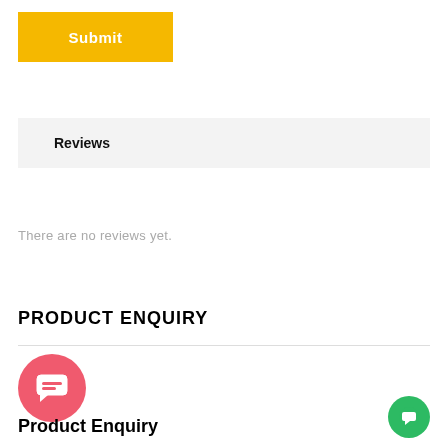Submit
Reviews
There are no reviews yet.
PRODUCT ENQUIRY
[Figure (illustration): Red circular chat/message icon button]
Product Enquiry
[Figure (illustration): Green circular chat icon button in bottom right corner]